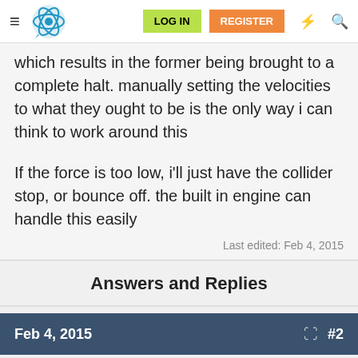LOG IN | REGISTER
which results in the former being brought to a complete halt. manually setting the velocities to what they ought to be is the only way i can think to work around this
If the force is too low, i'll just have the collider stop, or bounce off. the built in engine can handle this easily
Last edited: Feb 4, 2015
Answers and Replies
Feb 4, 2015  #2